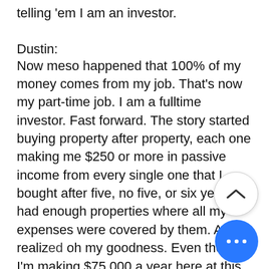telling 'em I am an investor.
Dustin:
Now meso happened that 100% of my money comes from my job. That's now my part-time job. I am a fulltime investor. Fast forward. The story started buying property after property, each one making me $250 or more in passive income from every single one that I bought after five, no five, or six years, I had enough properties where all my expenses were covered by them. And I realized oh my goodness. Even though I'm making $75,000 a year here at this job, I'm losing money. So I'll round the story by sharing. I went to my new boss, a great boss and everything and I